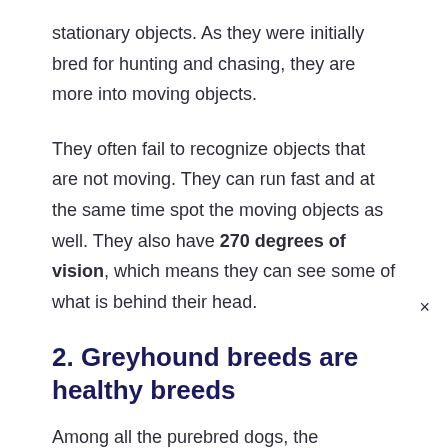stationary objects. As they were initially bred for hunting and chasing, they are more into moving objects.
They often fail to recognize objects that are not moving. They can run fast and at the same time spot the moving objects as well. They also have 270 degrees of vision, which means they can see some of what is behind their head.
2. Greyhound breeds are healthy breeds
Among all the purebred dogs, the greyhounds